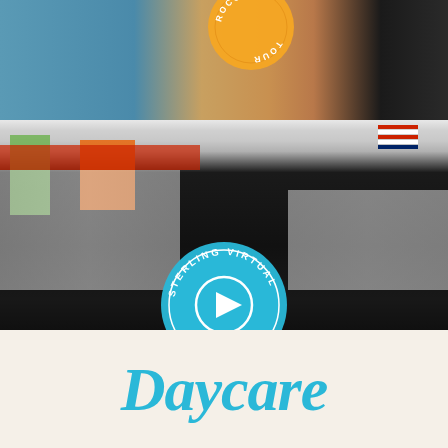[Figure (photo): Top photo: A woman in a blue shirt crouching down petting a golden/fluffy dog. Another person in dark pants stands on the right. There is an orange circular badge overlaid in the upper center area with text 'ROCCO TOUR' (partially visible, upside-down style around the circle).]
[Figure (photo): Bottom large photo: Overhead/wide-angle view of a dog daycare facility interior. Shows kennels/dividers, dogs playing on dark floor, elevated red platforms, orange accent wall, green wall panel, American flags visible top right. A teal circular badge is overlaid in the center with text 'STERLING VIRTUAL TOUR' arranged in a circle with a play button triangle icon in the middle.]
Daycare